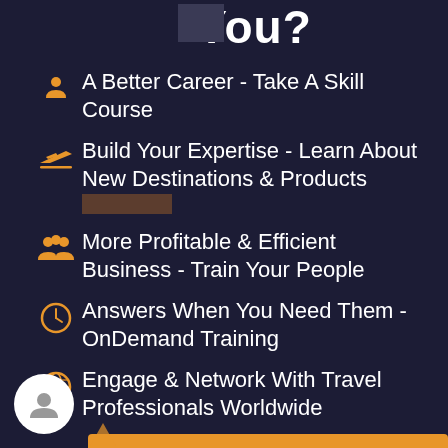You?
A Better Career - Take A Skill Course
Build Your Expertise - Learn About New Destinations & Products
More Profitable & Efficient Business - Train Your People
Answers When You Need Them - OnDemand Training
Engage & Network With Travel Professionals Worldwide